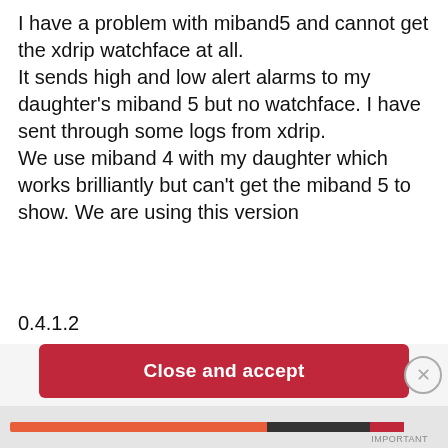I have a problem with miband5 and cannot get the xdrip watchface at all. It sends high and low alert alarms to my daughter's miband 5 but no watchface. I have sent through some logs from xdrip. We use miband 4 with my daughter which works brilliantly but can't get the miband 5 to show. We are using this version
0.4.1.2
Privacy & Cookies: This site uses cookies. By continuing to use this website, you agree to their use. To find out more, including how to control cookies, see here: Cookie Policy
Close and accept